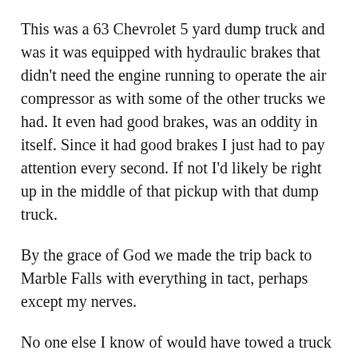This was a 63 Chevrolet 5 yard dump truck and was it was equipped with hydraulic brakes that didn't need the engine running to operate the air compressor as with some of the other trucks we had. It even had good brakes, was an oddity in itself. Since it had good brakes I just had to pay attention every second. If not I'd likely be right up in the middle of that pickup with that dump truck.
By the grace of God we made the trip back to Marble Falls with everything in tact, perhaps except my nerves.
No one else I know of would have towed a truck that far behind a pickup.
I have no way knowing how many miles I've driven